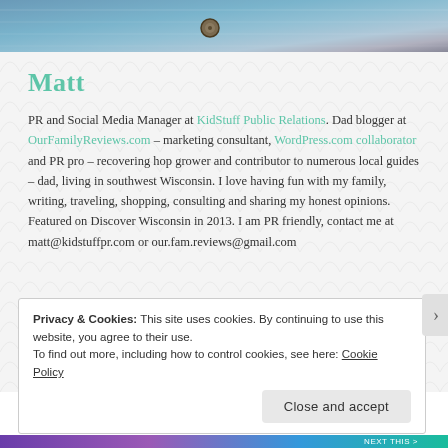[Figure (photo): Cropped photo showing denim jacket fabric detail with a metallic button/snap, light blue color]
Matt
PR and Social Media Manager at KidStuff Public Relations. Dad blogger at OurFamilyReviews.com – marketing consultant, WordPress.com collaborator and PR pro – recovering hop grower and contributor to numerous local guides – dad, living in southwest Wisconsin. I love having fun with my family, writing, traveling, shopping, consulting and sharing my honest opinions. Featured on Discover Wisconsin in 2013. I am PR friendly, contact me at matt@kidstuffpr.com or our.fam.reviews@gmail.com
Privacy & Cookies: This site uses cookies. By continuing to use this website, you agree to their use.
To find out more, including how to control cookies, see here: Cookie Policy
Close and accept